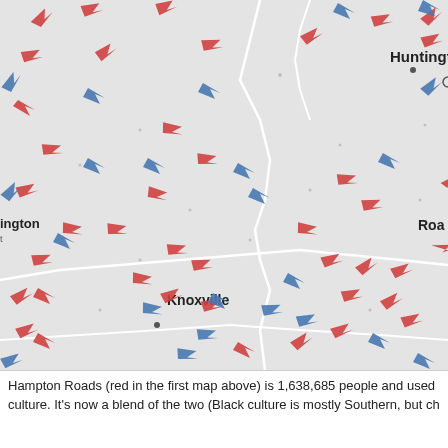[Figure (map): A geographic map of the Appalachian region including West Virginia, Kentucky, Tennessee, and Virginia, showing migration flow arrows. Red arrows indicate movement into the region (or outflow directions), and blue arrows indicate movement in opposite directions. City labels visible: Huntington, Charleston, Knoxville, Roa(noke). White lines indicate state or county boundaries.]
Hampton Roads (red in the first map above) is 1,638,685 people and used culture. It's now a blend of the two (Black culture is mostly Southern, but ch